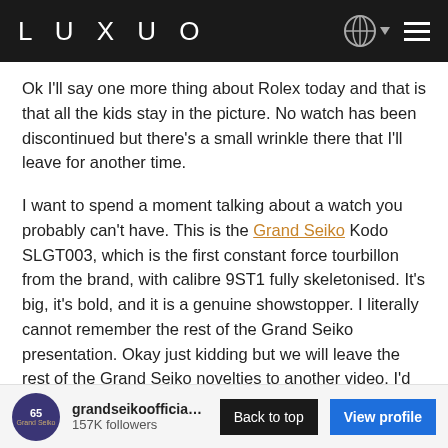LUXUO
Ok I'll say one more thing about Rolex today and that is that all the kids stay in the picture. No watch has been discontinued but there's a small wrinkle there that I'll leave for another time.
I want to spend a moment talking about a watch you probably can't have. This is the Grand Seiko Kodo SLGT003, which is the first constant force tourbillon from the brand, with calibre 9ST1 fully skeletonised. It's big, it's bold, and it is a genuine showstopper. I literally cannot remember the rest of the Grand Seiko presentation. Okay just kidding but we will leave the rest of the Grand Seiko novelties to another video. I'd like to say though that we need more watches like the Kodo — watches that make your heart race.
grandseikoofficia… 157K followers | Back to top | View profile